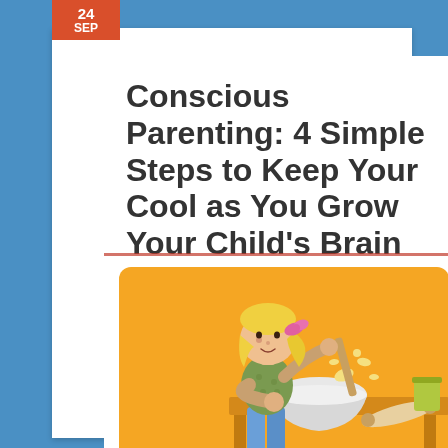24 SEP
Conscious Parenting: 4 Simple Steps to Keep Your Cool as You Grow Your Child’s Brain
[Figure (illustration): Cartoon illustration of a blonde girl with a pink bow in her hair, wearing a green dotted shirt and jeans, stirring a bowl at a table. Batter is splashing out. A rolling pin and a can are on the table. Orange background.]